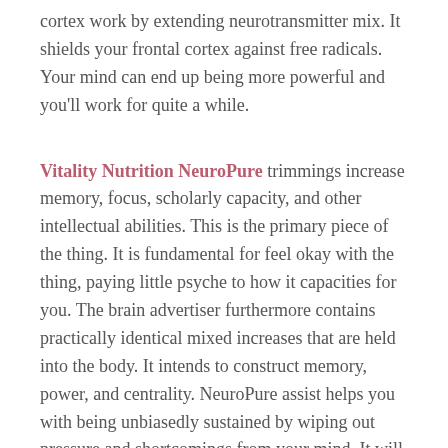cortex work by extending neurotransmitter mix. It shields your frontal cortex against free radicals. Your mind can end up being more powerful and you'll work for quite a while.
Vitality Nutrition NeuroPure trimmings increase memory, focus, scholarly capacity, and other intellectual abilities. This is the primary piece of the thing. It is fundamental for feel okay with the thing, paying little psyche to how it capacities for you. The brain advertiser furthermore contains practically identical mixed increases that are held into the body. It intends to construct memory, power, and centrality. NeuroPure assist helps you with being unbiasedly sustained by wiping out pressure and shortcomings from your mind. It will give you a strong cerebrum that can without a doubt learn, appreciate,